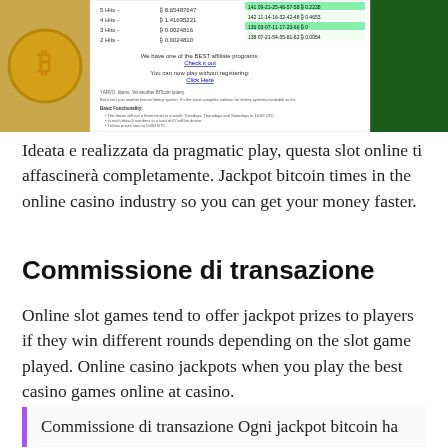[Figure (screenshot): Screenshot of a Bitcoin lottery website showing hit counts with Bitcoin prize amounts and lottery results table with numbers and payouts, plus text about affiliate programs and game functionality.]
Ideata e realizzata da pragmatic play, questa slot online ti affascinerà completamente. Jackpot bitcoin times in the online casino industry so you can get your money faster.
Commissione di transazione
Online slot games tend to offer jackpot prizes to players if they win different rounds depending on the slot game played. Online casino jackpots when you play the best casino games online at casino.
Commissione di transazione Ogni jackpot bitcoin ha